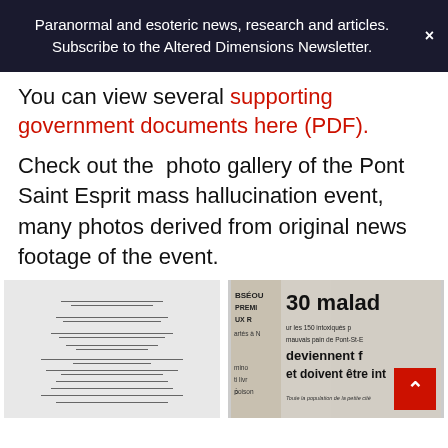Paranormal and esoteric news, research and articles. Subscribe to the Altered Dimensions Newsletter.
You can view several supporting government documents here (PDF).
Check out the  photo gallery of the Pont Saint Esprit mass hallucination event, many photos derived from original news footage of the event.
[Figure (photo): Scanned government document, partially visible, with typed text lines.]
[Figure (photo): French newspaper clippings showing headlines about the Pont-Saint-Esprit mass hallucination event: '30 malad' and 'deviennent f' and 'et doivent être int' visible.]